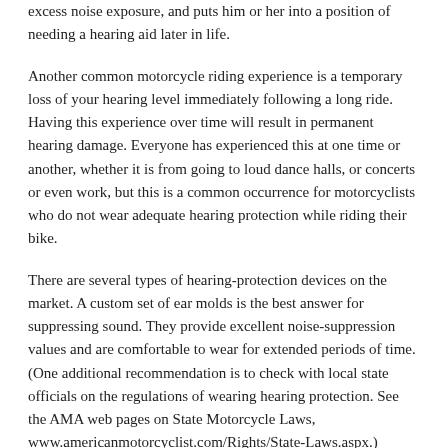excess noise exposure, and puts him or her into a position of needing a hearing aid later in life.
Another common motorcycle riding experience is a temporary loss of your hearing level immediately following a long ride. Having this experience over time will result in permanent hearing damage. Everyone has experienced this at one time or another, whether it is from going to loud dance halls, or concerts or even work, but this is a common occurrence for motorcyclists who do not wear adequate hearing protection while riding their bike.
There are several types of hearing-protection devices on the market. A custom set of ear molds is the best answer for suppressing sound. They provide excellent noise-suppression values and are comfortable to wear for extended periods of time. (One additional recommendation is to check with local state officials on the regulations of wearing hearing protection. See the AMA web pages on State Motorcycle Laws, www.americanmotorcyclist.com/Rights/State-Laws.aspx.)